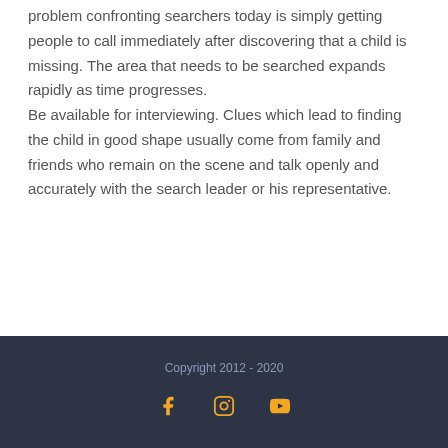problem confronting searchers today is simply getting people to call immediately after discovering that a child is missing. The area that needs to be searched expands rapidly as time progresses.

Be available for interviewing. Clues which lead to finding the child in good shape usually come from family and friends who remain on the scene and talk openly and accurately with the search leader or his representative.
Copyright 2012 - 2020